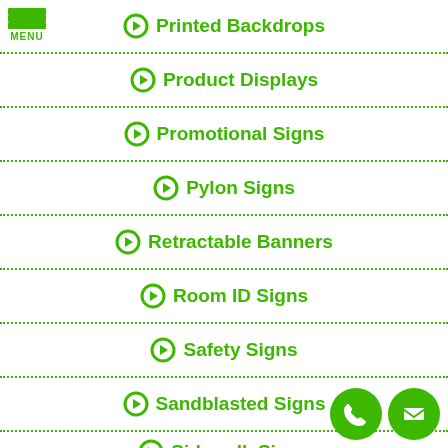[Figure (illustration): Green hamburger menu icon with three horizontal bars and MENU label]
Printed Backdrops
Product Displays
Promotional Signs
Pylon Signs
Retractable Banners
Room ID Signs
Safety Signs
Sandblasted Signs
Sidewalk Signs
[Figure (illustration): Two green circular contact buttons: phone and email icons]